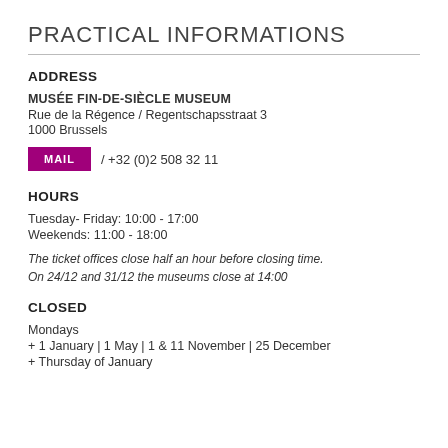PRACTICAL INFORMATIONS
ADDRESS
MUSÉE FIN-DE-SIÈCLE MUSEUM
Rue de la Régence / Regentschapsstraat 3
1000 Brussels
MAIL / +32 (0)2 508 32 11
HOURS
Tuesday- Friday: 10:00 - 17:00
Weekends: 11:00 - 18:00
The ticket offices close half an hour before closing time. On 24/12 and 31/12 the museums close at 14:00
CLOSED
Mondays
+ 1 January | 1 May | 1 & 11 November | 25 December
+ Thursday of January